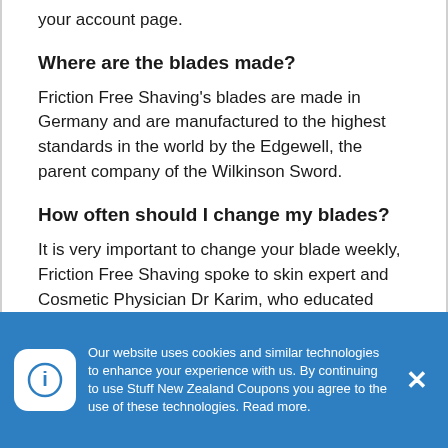your account page.
Where are the blades made?
Friction Free Shaving's blades are made in Germany and are manufactured to the highest standards in the world by the Edgewell, the parent company of the Wilkinson Sword.
How often should I change my blades?
It is very important to change your blade weekly, Friction Free Shaving spoke to skin expert and Cosmetic Physician Dr Karim, who educated them on the bacteria that can grow within your razor head whilst stored in your
Our website uses cookies and similar technologies to enhance your experience with us. By continuing to use Stuff New Zealand Coupons you agree to the use of these technologies. Read more.